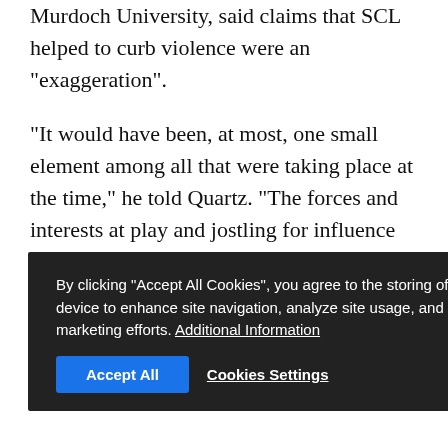Murdoch University, said claims that SCL helped to curb violence were an "exaggeration".
"It would have been, at most, one small element among all that were taking place at the time," he told Quartz. "The forces and interests at play and jostling for influence were simply on too big a scale to have been influenced significantly in such a way."
THAI ELECTION DATA
The SCL documents say the company entered Thailand for the 2001 elections that saw telecoms billionaire Thaksin Shinawatra taking power.
SCL was tasked with gauging the scale of vote-buying behaviour that had inflated the cost of an election
By clicking "Accept All Cookies", you agree to the storing of cookies on your device to enhance site navigation, analyze site usage, and assist in our marketing efforts. Additional Information